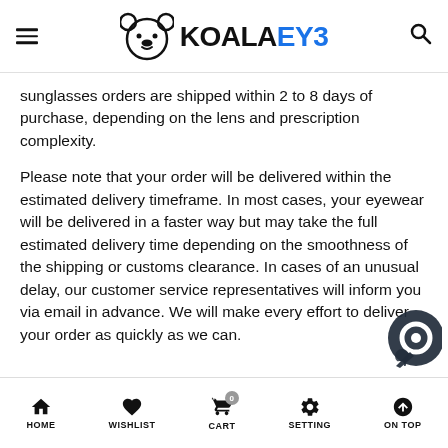KOALAEYE
sunglasses orders are shipped within 2 to 8 days of purchase, depending on the lens and prescription complexity.
Please note that your order will be delivered within the estimated delivery timeframe. In most cases, your eyewear will be delivered in a faster way but may take the full estimated delivery time depending on the smoothness of the shipping or customs clearance. In cases of an unusual delay, our customer service representatives will inform you via email in advance. We will make every effort to deliver your order as quickly as we can.
HOME | WISHLIST | CART | SETTING | ON TOP